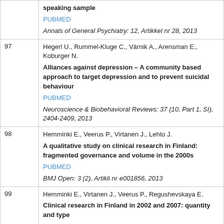| # | Reference |
| --- | --- |
|  | speaking sample
PUBMED
Annals of General Psychiatry: 12, Artikkel nr 28, 2013 |
| 97 | Hegerl U., Rummel-Kluge C., Värnik A., Arensman E., Koburger N.
Alliances against depression – A community based approach to target depression and to prevent suicidal behaviour
PUBMED
Neuroscience & Biobehavioral Reviews: 37 (10, Part 1, SI), 2404-2409, 2013 |
| 98 | Hemminki E., Veerus P., Virtanen J., Lehto J.
A qualitative study on clinical research in Finland: fragmented governance and volume in the 2000s
PUBMED
BMJ Open: 3 (2), Artikli nr e001856, 2013 |
| 99 | Hemminki E., Virtanen J., Veerus P., Regushevskaya E.
Clinical research in Finland in 2002 and 2007: quantity and type
PUBMED |